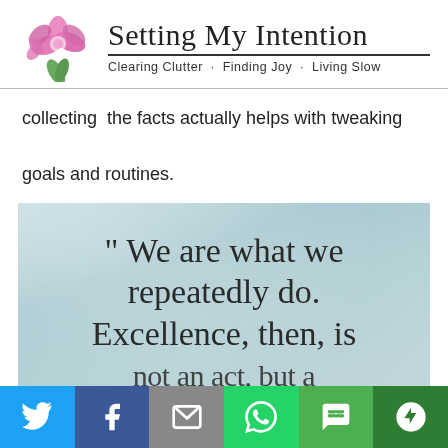[Figure (logo): Setting My Intention blog header with pink flower/orchid illustration on left, cursive title 'Setting My Intention' with underline, subtitle 'Clearing Clutter · Finding Joy · Living Slow']
collecting  the facts actually helps with tweaking goals and routines.
[Figure (photo): Quote image on weathered teal/blue-grey textured background. Text reads: " We are what we repeatedly do. Excellence, then, is not an act, but a (cut off)]
[Figure (infographic): Social share bar at bottom with icons for Twitter (blue), Facebook (dark blue), Email/Mail (grey), WhatsApp (green), SMS (green), More/other (dark green)]